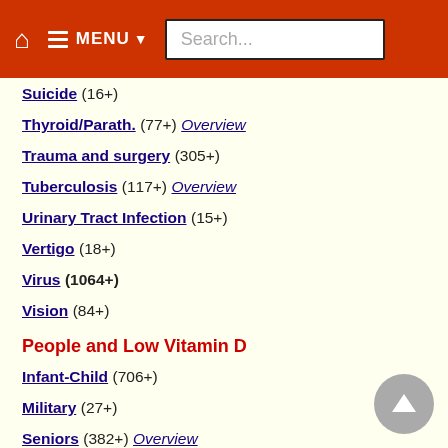MENU Search...
Suicide (16+)
Thyroid/Parath. (77+) Overview
Trauma and surgery (305+)
Tuberculosis (117+) Overview
Urinary Tract Infection (15+)
Vertigo (18+)
Virus (1064+)
Vision (84+)
People and Low Vitamin D
Infant-Child (706+)
Military (27+)
Seniors (382+) Overview